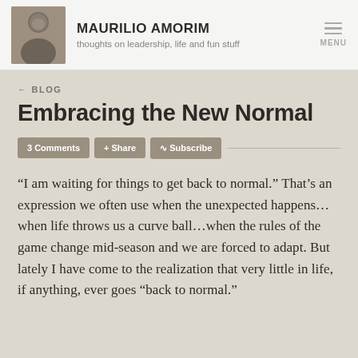MAURILIO AMORIM
thoughts on leadership, life and fun stuff
← BLOG
Embracing the New Normal
3 Comments  + Share  ⊃ Subscribe
“I am waiting for things to get back to normal.” That’s an expression we often use when the unexpected happens…when life throws us a curve ball…when the rules of the game change mid-season and we are forced to adapt. But lately I have come to the realization that very little in life, if anything, ever goes “back to normal.”